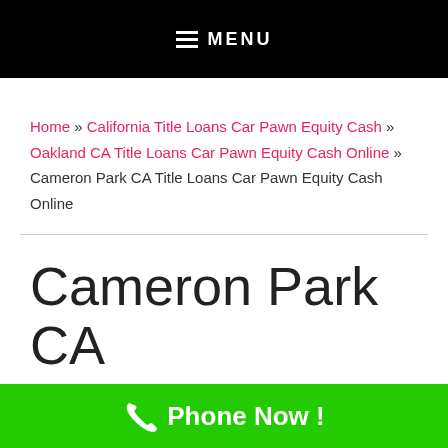MENU
Home » California Title Loans Car Pawn Equity Cash » Oakland CA Title Loans Car Pawn Equity Cash Online » Cameron Park CA Title Loans Car Pawn Equity Cash Online
Cameron Park CA
Phone Now !